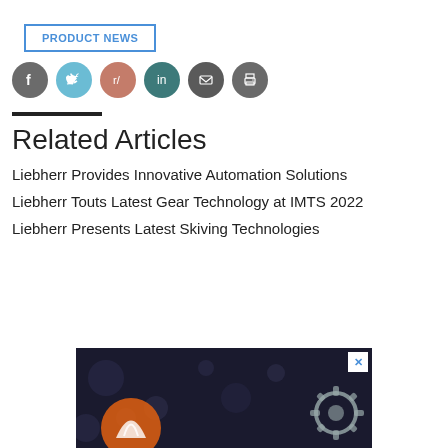PRODUCT NEWS
[Figure (infographic): Social media share icons: Facebook (dark gray circle), Twitter (light blue circle), Reddit (pink/salmon circle), LinkedIn (dark teal circle), Email (dark gray circle), Print (dark gray circle)]
Related Articles
Liebherr Provides Innovative Automation Solutions
Liebherr Touts Latest Gear Technology at IMTS 2022
Liebherr Presents Latest Skiving Technologies
[Figure (photo): Advertisement banner showing mechanical gears and orange circular logo on a dark bokeh background, with a close (X) button in the top right corner]